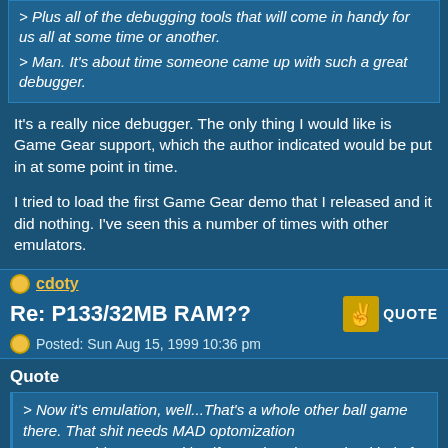> Plus all of the debugging tools that will come in handy for us all at some time or another.
> Man. It's about time someone came up with such a great debugger.
It's a really nice debugger. The only thing I would like is Game Gear support, which the author indicated would be put in at some point in time.
I tried to load the first Game Gear demo that I released and it did nothing. I've seen this a number of times with other emulators.
cdoty
Re: P133/32MB RAM??
Posted: Sun Aug 15, 1999 10:36 pm
Quote
> Now it's emulation, well...That's a whole other ball game there. That shit needs MAD optomization
> or something to speed itself up. I don't know what kind of core the guy is using but damn it! That's
> like the RockNES for SMS emulators! That's ridiculous